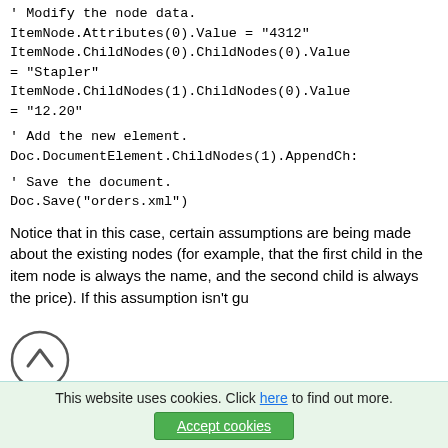' Modify the node data.
ItemNode.Attributes(0).Value = "4312"
ItemNode.ChildNodes(0).ChildNodes(0).Value = "Stapler"
ItemNode.ChildNodes(1).ChildNodes(0).Value = "12.20"
' Add the new element.
Doc.DocumentElement.ChildNodes(1).AppendCh:
' Save the document.
Doc.Save("orders.xml")
Notice that in this case, certain assumptions are being made about the existing nodes (for example, that the first child in the item node is always the name, and the second child is always the price). If this assumption isn't gu...
This website uses cookies. Click here to find out more.
Accept cookies